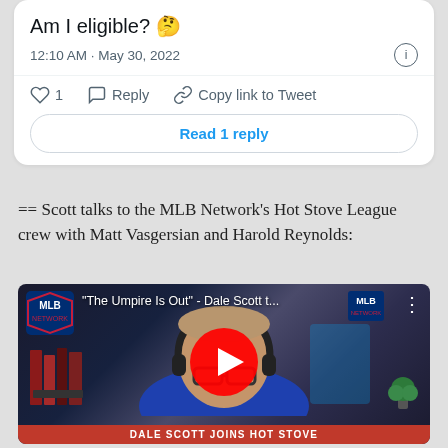Am I eligible? 🤔
12:10 AM · May 30, 2022
♡ 1   Reply   Copy link to Tweet
Read 1 reply
== Scott talks to the MLB Network's Hot Stove League crew with Matt Vasgersian and Harold Reynolds:
[Figure (screenshot): YouTube video thumbnail showing Dale Scott on a video call with headphones, MLB logos visible. Title: '"The Umpire Is Out" - Dale Scott t...' with a red play button. Bottom bar reads 'DALE SCOTT JOINS HOT STOVE'.]